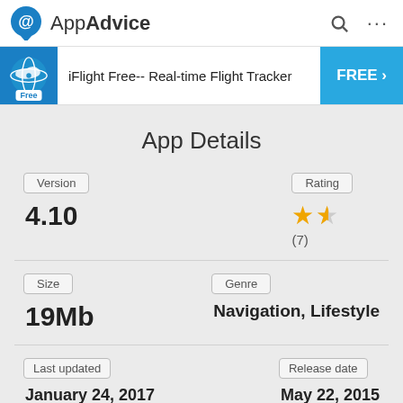AppAdvice
[Figure (screenshot): AppAdvice app banner for iFlight Free-- Real-time Flight Tracker with FREE button]
App Details
Version: 4.10
Rating: ★★½ (7)
Size: 19Mb
Genre: Navigation, Lifestyle
Last updated
Release date
January 24, 2017
May 22, 2015